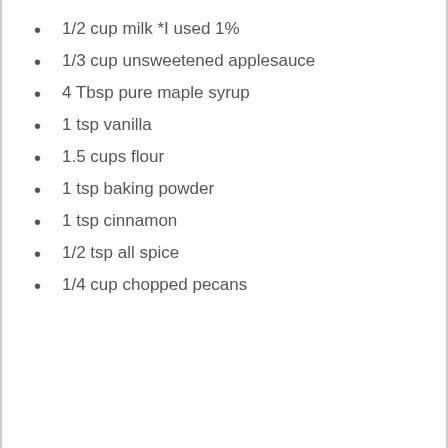1/2 cup milk *I used 1%
1/3 cup unsweetened applesauce
4 Tbsp pure maple syrup
1 tsp vanilla
1.5 cups flour
1 tsp baking powder
1 tsp cinnamon
1/2 tsp all spice
1/4 cup chopped pecans